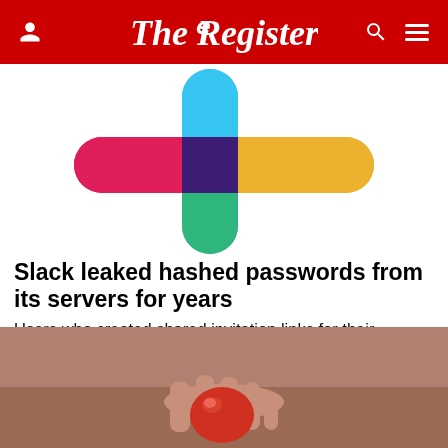The Register
[Figure (logo): Slack logo — colorful cross/plus shape made of rounded pill shapes in pink, teal, yellow, dark purple/red segments]
Slack leaked hashed passwords from its servers for years
Users who created shared invitation links for their workspace had login details slip out among encrypted traffic
SECURITY   15 days | 11 comments
[Figure (photo): A hand holding or balancing a red/orange spherical object, close-up photo with blurred background]